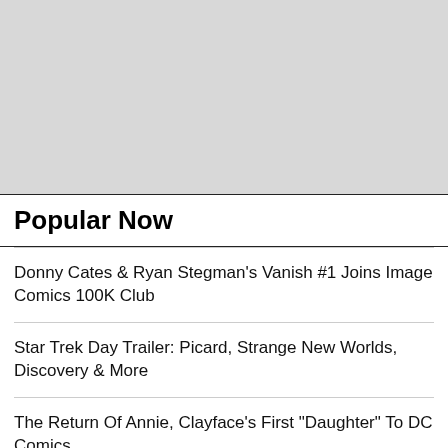[Figure (other): Gray placeholder image area at top of page]
Popular Now
Donny Cates & Ryan Stegman's Vanish #1 Joins Image Comics 100K Club
Star Trek Day Trailer: Picard, Strange New Worlds, Discovery & More
The Return Of Annie, Clayface's First "Daughter" To DC Comics
When Todd McFarlane Drew Neil Gaiman's Sandman